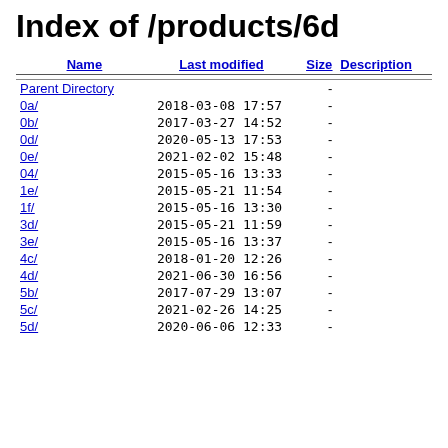Index of /products/6d
| Name | Last modified | Size | Description |
| --- | --- | --- | --- |
| Parent Directory |  | - |  |
| 0a/ | 2018-03-08 17:57 | - |  |
| 0b/ | 2017-03-27 14:52 | - |  |
| 0d/ | 2020-05-13 17:53 | - |  |
| 0e/ | 2021-02-02 15:48 | - |  |
| 04/ | 2015-05-16 13:33 | - |  |
| 1e/ | 2015-05-21 11:54 | - |  |
| 1f/ | 2015-05-16 13:30 | - |  |
| 3d/ | 2015-05-21 11:59 | - |  |
| 3e/ | 2015-05-16 13:37 | - |  |
| 4c/ | 2018-01-20 12:26 | - |  |
| 4d/ | 2021-06-30 16:56 | - |  |
| 5b/ | 2017-07-29 13:07 | - |  |
| 5c/ | 2021-02-26 14:25 | - |  |
| 5d/ | 2020-06-06 12:33 | - |  |